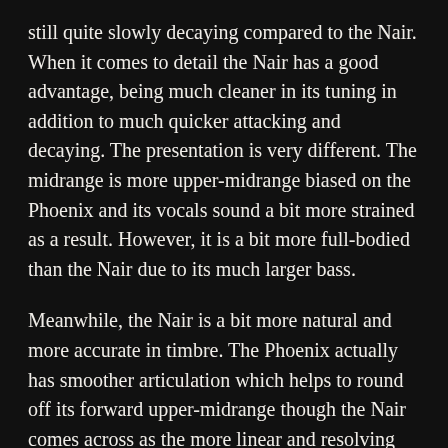still quite slowly decaying compared to the Nair. When it comes to detail the Nair has a good advantage, being much cleaner in its tuning in addition to much quicker attacking and decaying. The presentation is very different. The midrange is more upper-midrange biased on the Phoenix and its vocals sound a bit more strained as a result. However, it is a bit more full-bodied than the Nair due to its much larger bass.
Meanwhile, the Nair is a bit more natural and more accurate in timbre. The Phoenix actually has smoother articulation which helps to round off its forward upper-midrange though the Nair comes across as the more linear and resolving performer here, the Phoenix a more engaging. The top-end is much more aggressive on the Phoenix. It has substantially higher detail retrieval and stronger extension with greater headroom and sparkle